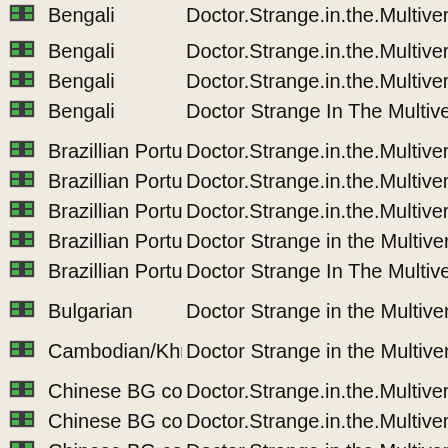|  | Language | Title |
| --- | --- | --- |
| ■■■ | Bengali | Doctor.Strange.in.the.Multiverse.of.Madness.2022.720p. |
| ■■■ | Bengali | Doctor.Strange.in.the.Multiverse.of.Madness.2022.720p.\ |
| ■■■ | Bengali | Doctor.Strange.in.the.Multiverse.of.Madness.2022.1080p |
| ■■■ | Bengali | Doctor Strange In The Multiverse of Madness (2022) 720 |
| ■■■ | Brazillian Portugu | Doctor.Strange.in.the.Multiverse.of.Madness.2022.WEB- |
| ■■■ | Brazillian Portugu | Doctor.Strange.in.the.Multiverse.of.Madness.2022.WEB- |
| ■■■ | Brazillian Portugu | Doctor.Strange.in.the.Multiverse.of.Madness.2022.WEB- |
| ■■■ | Brazillian Portugu | Doctor Strange in the Multiverse of Madness 2022 1080p |
| ■■■ | Brazillian Portugu | Doctor Strange In The Multiverse of Madness (2022) 720 |
| ■■■ | Bulgarian | Doctor Strange in the Multiverse of Madness 2022 1080p |
| ■■■ | Cambodian/Khme | Doctor Strange in the Multiverse of Madness |
| ■■■ | Chinese BG code | Doctor.Strange.in.the.Multiverse.of.Madness.2022.WEB- |
| ■■■ | Chinese BG code | Doctor.Strange.in.the.Multiverse.of.Madness.2022.WEB- |
| ■■■ | Chinese BG code | Doctor.Strange.in.the.Multiverse.of.Madness.2022.WEB- |
| ■■■ | Chinese BG code | Doctor.Strange.in.the.Multiverse.of.Madness.2022.1080p |
| ■■■ | Chinese BG code | Doctor.Strange.in.the.Multiverse.of.Madness.2022.1080p |
| ■■■ | Chinese BG code | Doctor.Strange.in.the.Multiverse.of.Madness.2022.1080p |